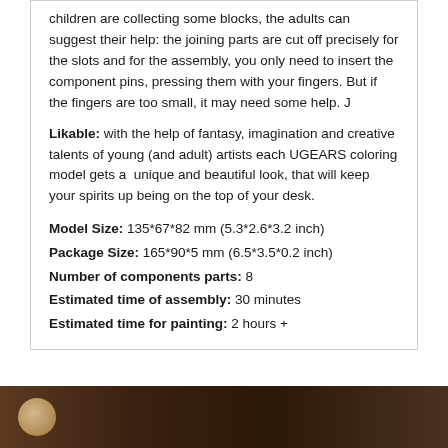children are collecting some blocks, the adults can suggest their help: the joining parts are cut off precisely for the slots and for the assembly, you only need to insert the component pins, pressing them with your fingers. But if the fingers are too small, it may need some help. J
Likable: with the help of fantasy, imagination and creative talents of young (and adult) artists each UGEARS coloring model gets a unique and beautiful look, that will keep your spirits up being on the top of your desk.
Model Size: 135*67*82 mm (5.3*2.6*3.2 inch)
Package Size: 165*90*5 mm (6.5*3.5*0.2 inch)
Number of components parts: 8
Estimated time of assembly: 30 minutes
Estimated time for painting: 2 hours +
[Figure (photo): Dark brown photo strip at the bottom of the page, partially visible, appears to show a wooden model or craft item]